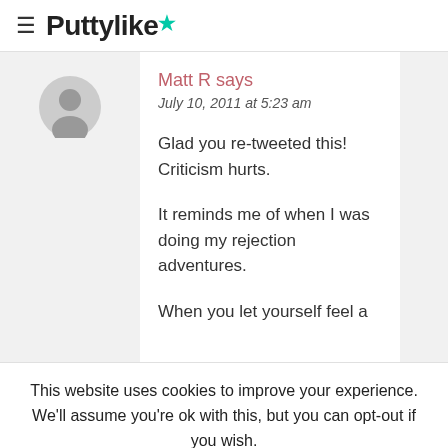≡ Puttylike★
Matt R says
July 10, 2011 at 5:23 am

Glad you re-tweeted this! Criticism hurts.

It reminds me of when I was doing my rejection adventures.

When you let yourself feel a
This website uses cookies to improve your experience. We'll assume you're ok with this, but you can opt-out if you wish.
Cookie settings  ACCEPT